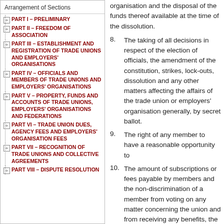Arrangement of Sections
PART I – PRELIMINARY
PART II – FREEDOM OF ASSOCIATION
PART III – ESTABLISHMENT AND REGISTRATION OF TRADE UNIONS AND EMPLOYERS' ORGANISATIONS
PART IV – OFFICIALS AND MEMBERS OF TRADE UNIONS AND EMPLOYERS' ORGANISATIONS
PART V – PROPERTY, FUNDS AND ACCOUNTS OF TRADE UNIONS, EMPLOYERS' ORGANISATIONS AND FEDERATIONS
PART VI – TRADE UNION DUES, AGENCY FEES AND EMPLOYERS' ORGANISATION FEES
PART VII – RECOGNITION OF TRADE UNIONS AND COLLECTIVE AGREEMENTS
PART VIII – DISPUTE RESOLUTION
organisation and the disposal of the funds thereof available at the time of the dissolution.
8. The taking of all decisions in respect of the election of officials, the amendment of the constitution, strikes, lock-outs, dissolution and any other matters affecting the affairs of the trade union or employers' organisation generally, by secret ballot.
9. The right of any member to have a reasonable opportunity to…
10. The amount of subscriptions or fees payable by members and the non-discrimination of a member from voting on any matter concerning the union and from receiving any benefits, the members' subscription being in arrear.
11. The conditions under which a person may become an…